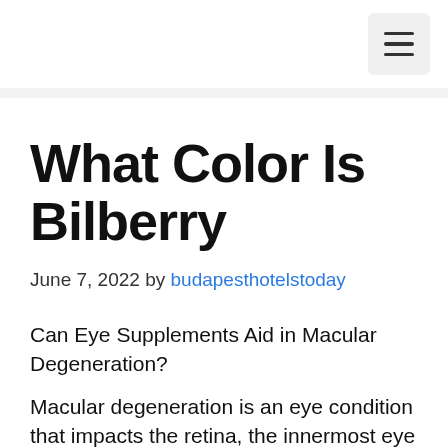≡ (menu button)
What Color Is Bilberry
June 7, 2022 by budapesthotelstoday
Can Eye Supplements Aid in Macular Degeneration?
Macular degeneration is an eye condition that impacts the retina, the innermost eye